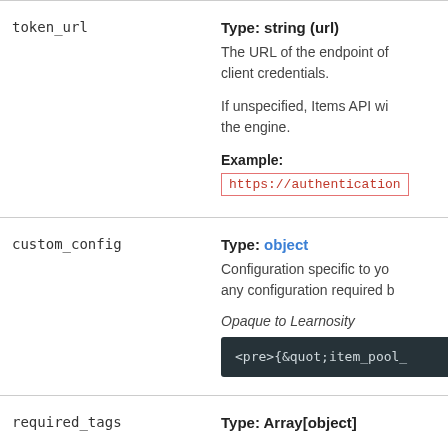| Parameter | Description |
| --- | --- |
| token_url | Type: string (url)
The URL of the endpoint of client credentials.

If unspecified, Items API wi the engine.

Example:
https://authentication |
| custom_config | Type: object
Configuration specific to yo any configuration required b

Opaque to Learnosity

<pre>{&quot;item_pool_ |
| required_tags | Type: Array[object] |